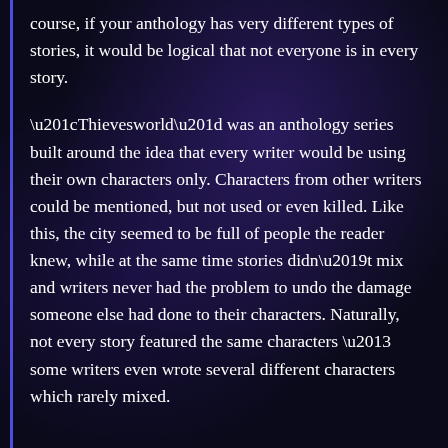course, if your anthology has very different types of stories, it would be logical that not everyone is in every story.
“Thievesworld” was an anthology series built around the idea that every writer would be using their own characters only. Characters from other writers could be mentioned, but not used or even killed. Like this, the city seemed to be full of people the reader knew, while at the same time stories didn’t mix and writers never had the problem to undo the damage someone else had done to their characters. Naturally, not every story featured the same characters – some writers even wrote several different characters which rarely mixed.